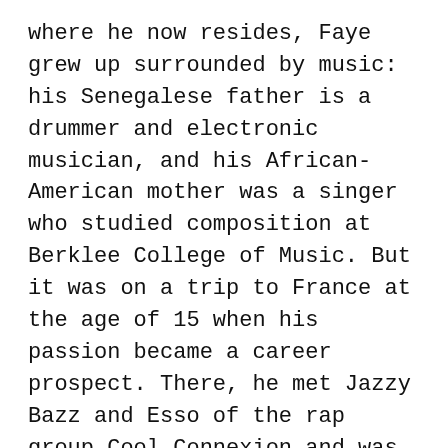where he now resides, Faye grew up surrounded by music: his Senegalese father is a drummer and electronic musician, and his African-American mother was a singer who studied composition at Berklee College of Music. But it was on a trip to France at the age of 15 when his passion became a career prospect. There, he met Jazzy Bazz and Esso of the rap group Cool Connexion and was featured on their track “I Speak Hip-Hop,” which, he says, “really planted the seed.”
Soon after graduating from high school, Faye decamped to Bed-Stuy and